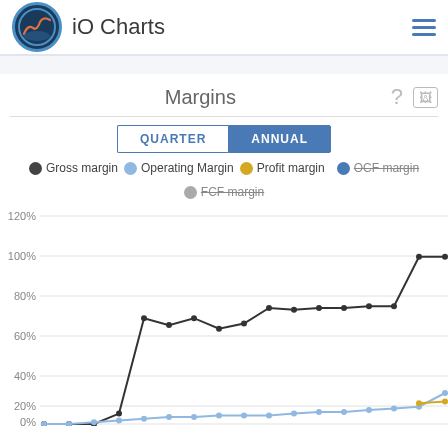iO Charts
Margins
[Figure (line-chart): Margins]